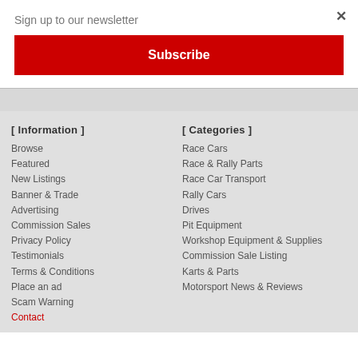Sign up to our newsletter
Subscribe
[ Information ]
[ Categories ]
Browse
Featured
New Listings
Banner & Trade
Advertising
Commission Sales
Privacy Policy
Testimonials
Terms & Conditions
Place an ad
Scam Warning
Contact
Race Cars
Race & Rally Parts
Race Car Transport
Rally Cars
Drives
Pit Equipment
Workshop Equipment & Supplies
Commission Sale Listing
Karts & Parts
Motorsport News & Reviews